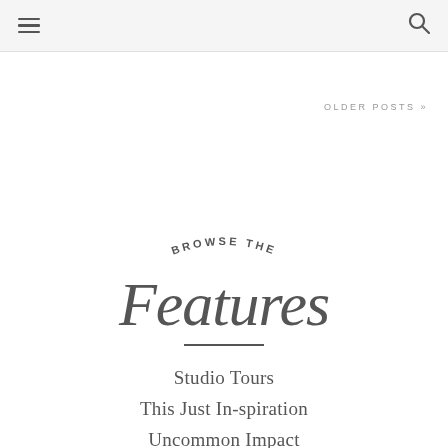≡  🔍
OLDER POSTS »
[Figure (illustration): Decorative logotype reading 'BROWSE THE Features' with 'BROWSE THE' in small uppercase arched letters and 'Features' in large flowing script, followed by a short horizontal rule]
Studio Tours
This Just In-spiration
Uncommon Impact